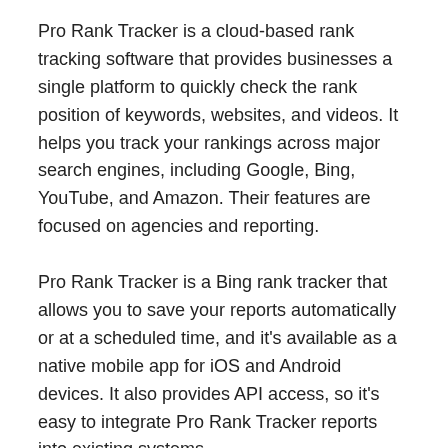Pro Rank Tracker is a cloud-based rank tracking software that provides businesses a single platform to quickly check the rank position of keywords, websites, and videos. It helps you track your rankings across major search engines, including Google, Bing, YouTube, and Amazon. Their features are focused on agencies and reporting.
Pro Rank Tracker is a Bing rank tracker that allows you to save your reports automatically or at a scheduled time, and it's available as a native mobile app for iOS and Android devices. It also provides API access, so it's easy to integrate Pro Rank Tracker reports into existing systems.